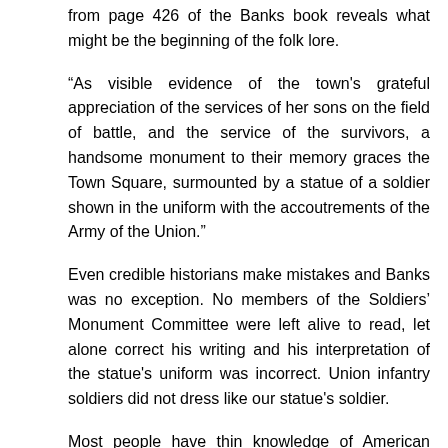from page 426 of the Banks book reveals what might be the beginning of the folk lore.
“As visible evidence of the town's grateful appreciation of the services of her sons on the field of battle, and the service of the survivors, a handsome monument to their memory graces the Town Square, surmounted by a statue of a soldier shown in the uniform with the accoutrements of the Army of the Union.”
Even credible historians make mistakes and Banks was no exception. No members of the Soldiers’ Monument Committee were left alive to read, let alone correct his writing and his interpretation of the statue's uniform was incorrect. Union infantry soldiers did not dress like our statue's soldier.
Most people have thin knowledge of American military uniforms during this time period and we humans have an interesting ability to make up answers for things not understood. Perhaps it is a desire to get closure on